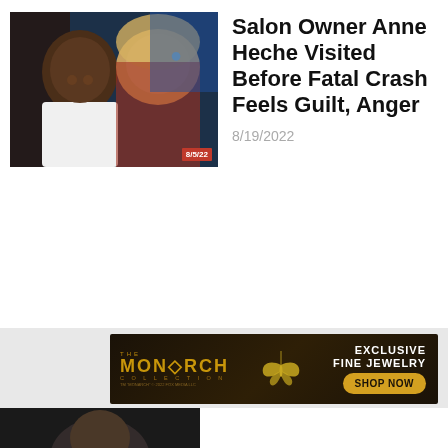[Figure (photo): Photo of two people smiling, a man in a white t-shirt on the left and a woman with blonde hair on the right, with a red date badge reading 8/5/22 in the lower right corner]
Salon Owner Anne Heche Visited Before Fatal Crash Feels Guilt, Anger
8/19/2022
[Figure (photo): Advertisement banner for The Monarch Collection fine jewelry with golden text, butterfly graphic, 'EXCLUSIVE FINE JEWELRY' text, and a 'SHOP NOW' button]
[Figure (photo): Partial dark photo visible at the bottom of the page]